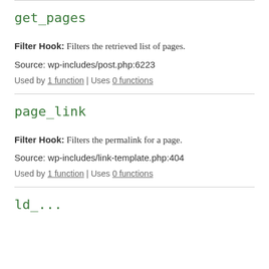get_pages
Filter Hook: Filters the retrieved list of pages.
Source: wp-includes/post.php:6223
Used by 1 function | Uses 0 functions
page_link
Filter Hook: Filters the permalink for a page.
Source: wp-includes/link-template.php:404
Used by 1 function | Uses 0 functions
ld_...